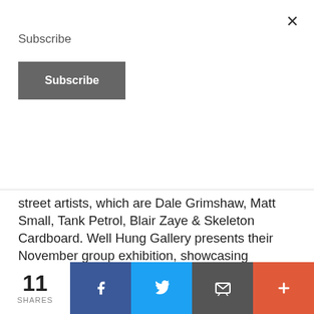Subscribe
Subscribe
street artists, which are Dale Grimshaw, Matt Small, Tank Petrol, Blair Zaye & Skeleton Cardboard. Well Hung Gallery presents their November group exhibition, showcasing distinctive yet contrasting styles and techniques.
The exhibition will run from Thursday 6th November to Tuesday 2nd December 2014 at Well Hung Gallery,
Privacy & Cookies: This site uses cookies. By continuing to use this website, you agree to their use.
To find out more, including how to control cookies, see here: Cookie Policy
11 SHARES